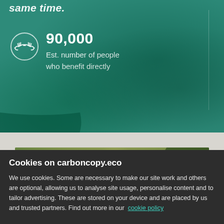same time.
90,000
Est. number of people who benefit directly
[Figure (photo): Meadow with yellow wildflowers and green grass in soft bokeh lighting]
Cookies on carboncopy.eco
We use cookies. Some are necessary to make our site work and others are optional, allowing us to analyse site usage, personalise content and to tailor advertising. These are stored on your device and are placed by us and trusted partners. Find out more in our cookie policy